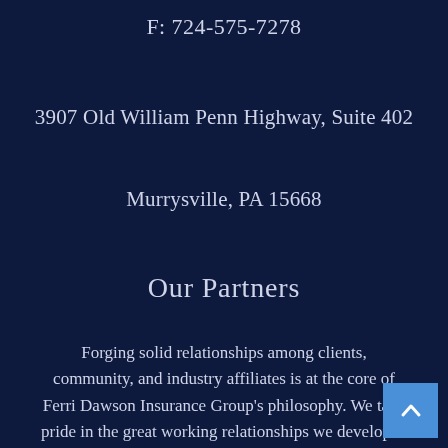F: 724-575-7278
3907 Old William Penn Highway, Suite 402
Murrysville, PA 15668
Our Partners
Forging solid relationships among clients, community, and industry affiliates is at the core of Ferri Dawson Insurance Group's philosophy. We take pride in the great working relationships we developed through our participation in key organizations.